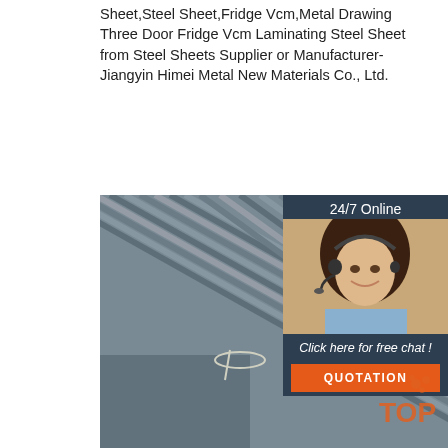Sheet,Steel Sheet,Fridge Vcm,Metal Drawing Three Door Fridge Vcm Laminating Steel Sheet from Steel Sheets Supplier or Manufacturer-Jiangyin Himei Metal New Materials Co., Ltd.
[Figure (illustration): Green 'Get Price' button]
[Figure (photo): Photo of bundled steel rebar rods viewed from an angle, gray metallic color, with wire ties visible]
[Figure (photo): Sidebar panel showing customer service agent (woman with headset smiling) with '24/7 Online' header, 'Click here for free chat!' text, and orange QUOTATION button]